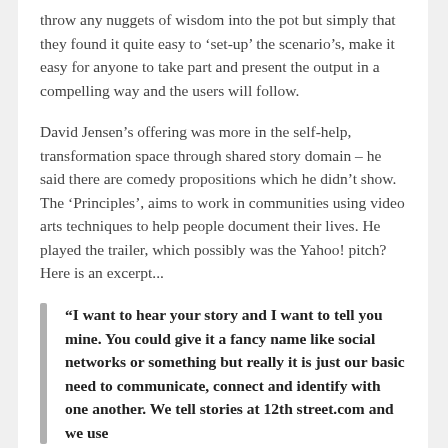throw any nuggets of wisdom into the pot but simply that they found it quite easy to 'set-up' the scenario's, make it easy for anyone to take part and present the output in a compelling way and the users will follow.
David Jensen's offering was more in the self-help, transformation space through shared story domain – he said there are comedy propositions which he didn't show. The 'Principles', aims to work in communities using video arts techniques to help people document their lives. He played the trailer, which possibly was the Yahoo! pitch? Here is an excerpt...
“I want to hear your story and I want to tell you mine. You could give it a fancy name like social networks or something but really it is just our basic need to communicate, connect and identify with one another. We tell stories at 12th street.com and we use...